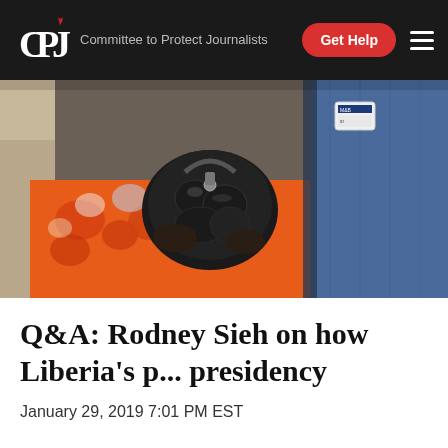CPJ — Committee to Protect Journalists
[Figure (photo): Close-up photograph of a person holding a black handbag, sitting in a vehicle. Colorful floral fabric visible, another person in a blue shirt in the background.]
Q&A: Rodney Sieh on how Liberia’s p... presidency
January 29, 2019 7:01 PM EST